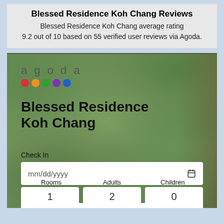Blessed Residence Koh Chang Reviews
Blessed Residence Koh Chang average rating 9.2 out of 10 based on 55 verified user reviews via Agoda.
[Figure (screenshot): Agoda booking widget for Blessed Residence Koh Chang, showing logo with colored dots, property name, Check In and Check Out date fields with mm/dd/yyyy placeholders and calendar icons, and Rooms/Adults/Children selectors at the bottom. Background shows a tropical garden photo.]